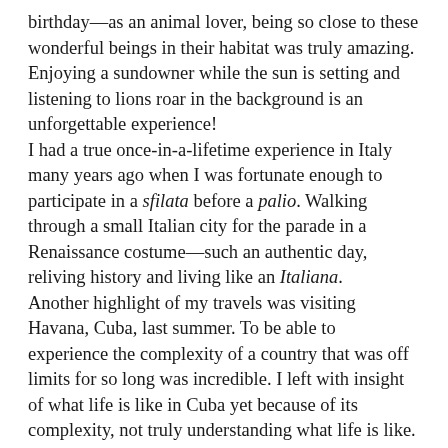birthday—as an animal lover, being so close to these wonderful beings in their habitat was truly amazing. Enjoying a sundowner while the sun is setting and listening to lions roar in the background is an unforgettable experience! I had a true once-in-a-lifetime experience in Italy many years ago when I was fortunate enough to participate in a sfilata before a palio. Walking through a small Italian city for the parade in a Renaissance costume—such an authentic day, reliving history and living like an Italiana. Another highlight of my travels was visiting Havana, Cuba, last summer. To be able to experience the complexity of a country that was off limits for so long was incredible. I left with insight of what life is like in Cuba yet because of its complexity, not truly understanding what life is like. As a local told me, “don’t try to understand it here, even we don’t understand!” It’s that complexity that makes me want to return to learn more!